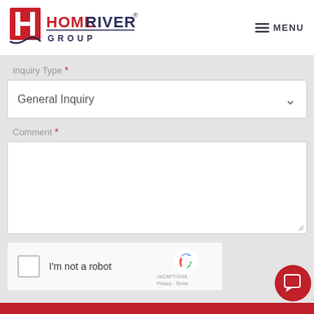[Figure (logo): HomeRiver Group logo with red H icon and navy/red text]
≡ MENU
Inquiry Type *
General Inquiry
Comment *
[Figure (screenshot): reCAPTCHA widget with checkbox labeled I'm not a robot and reCAPTCHA logo with Privacy and Terms links]
[Figure (other): Red circular chat support button with speech bubble icon in bottom right corner]
Red button bar at bottom of page